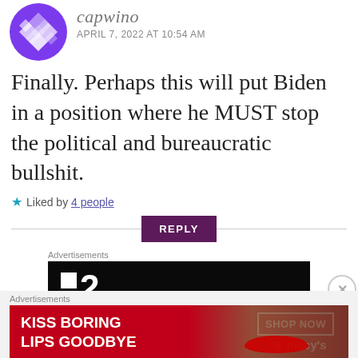[Figure (illustration): Purple geometric patterned avatar icon with diamond/star shapes]
capwino
APRIL 7, 2022 AT 10:54 AM
Finally. Perhaps this will put Biden in a position where he MUST stop the political and bureaucratic bullshit.
★ Liked by 4 people
REPLY
Advertisements
[Figure (screenshot): Dark advertisement banner with white square icon and large number 2]
Advertisements
[Figure (illustration): Macy's advertisement: KISS BORING LIPS GOODBYE with woman's face and red lips, SHOP NOW button and Macy's star logo]